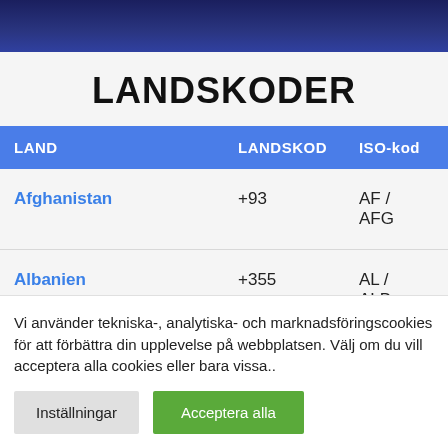[Figure (photo): Dark blue header banner with gradient, appears to be a navigation/website header image]
LANDSKODER
| LAND | LANDSKOD | ISO-kod |
| --- | --- | --- |
| Afghanistan | +93 | AF / AFG |
| Albanien | +355 | AL / ALB |
Vi använder tekniska-, analytiska- och marknadsföringscookies för att förbättra din upplevelse på webbplatsen. Välj om du vill acceptera alla cookies eller bara vissa..
Inställningar   Acceptera alla